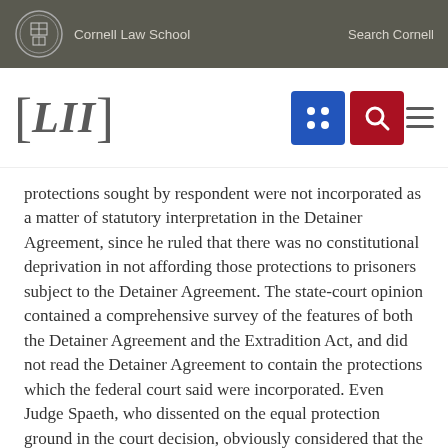Cornell Law School  Search Cornell
[Figure (logo): LII Legal Information Institute logo with navigation icons]
protections sought by respondent were not incorporated as a matter of statutory interpretation in the Detainer Agreement, since he ruled that there was no constitutional deprivation in not affording those protections to prisoners subject to the Detainer Agreement. The state-court opinion contained a comprehensive survey of the features of both the Detainer Agreement and the Extradition Act, and did not read the Detainer Agreement to contain the protections which the federal court said were incorporated. Even Judge Spaeth, who dissented on the equal protection ground in the court decision, obviously considered that the procedural protections under the two Acts were